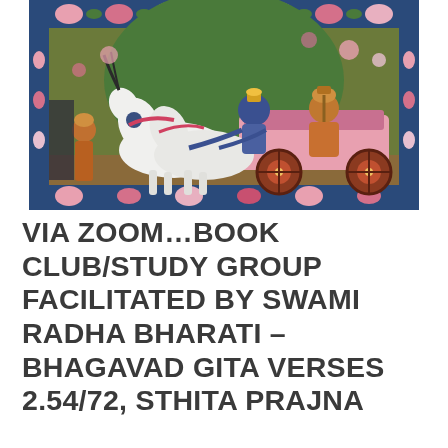[Figure (illustration): Indian miniature painting depicting a chariot scene with white horses, a blue-skinned figure (Krishna) as charioteer, a warrior (Arjuna) seated on a pink chariot, and an attendant standing beside the horses. The painting has a decorative floral border with blue and pink motifs.]
VIA ZOOM…BOOK CLUB/STUDY GROUP FACILITATED BY SWAMI RADHA BHARATI – BHAGAVAD GITA VERSES 2.54/72, STHITA PRAJNA